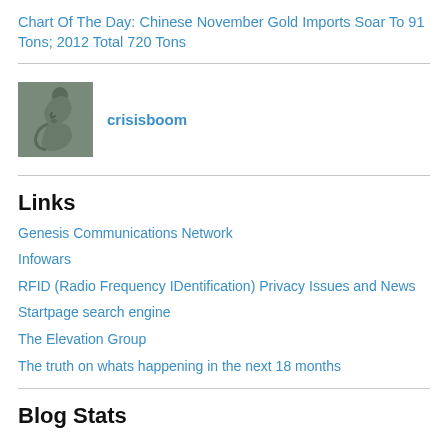Chart Of The Day: Chinese November Gold Imports Soar To 91 Tons; 2012 Total 720 Tons
crisisboom
Links
Genesis Communications Network
Infowars
RFID (Radio Frequency IDentification) Privacy Issues and News
Startpage search engine
The Elevation Group
The truth on whats happening in the next 18 months
Blog Stats